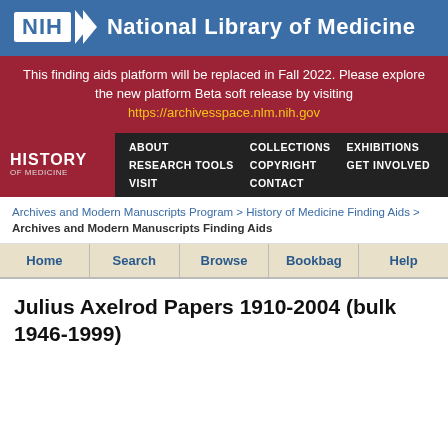[Figure (logo): NIH National Library of Medicine header logo and title on blue background]
This finding aids platform will be replaced in Fall 2022. Please explore the new platform Beta soft release by visiting https://archivesspace.nlm.nih.gov
[Figure (screenshot): History of Medicine navigation bar with menu items: About, Collections, Exhibitions, Research Tools, Copyright, Get Involved, Visit, Contact]
Archives and Modern Manuscripts Program > History of Medicine Finding Aids > Archives and Modern Manuscripts Finding Aids
Home  Search  Browse  Bookbag  Help
Julius Axelrod Papers 1910-2004 (bulk 1946-1999)